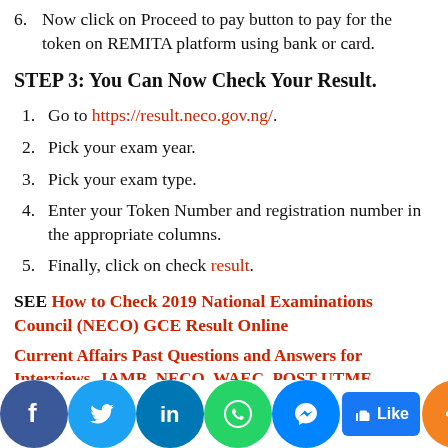6. Now click on Proceed to pay button to pay for the token on REMITA platform using bank or card.
STEP 3: You Can Now Check Your Result.
1. Go to https://result.neco.gov.ng/.
2. Pick your exam year.
3. Pick your exam type.
4. Enter your Token Number and registration number in the appropriate columns.
5. Finally, click on check result.
SEE How to Check 2019 National Examinations Council (NECO) GCE Result Online
Current Affairs Past Questions and Answers for Interviews, JAMB, NECO, WAEC, POST UTME
West Africa Examination Council, WAEC GCE